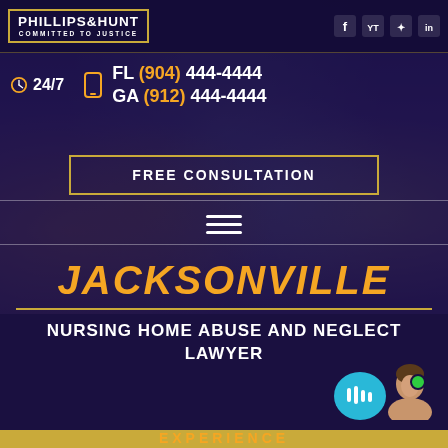[Figure (screenshot): Phillips & Hunt law firm website screenshot showing logo, social icons, phone numbers, free consultation button, family photo background, and Jacksonville nursing home lawyer heading]
PHILLIPS & HUNT COMMITTED TO JUSTICE
24/7
FL (904) 444-4444
GA (912) 444-4444
FREE CONSULTATION
JACKSONVILLE
NURSING HOME ABUSE AND NEGLECT LAWYER
EXPERIENCE